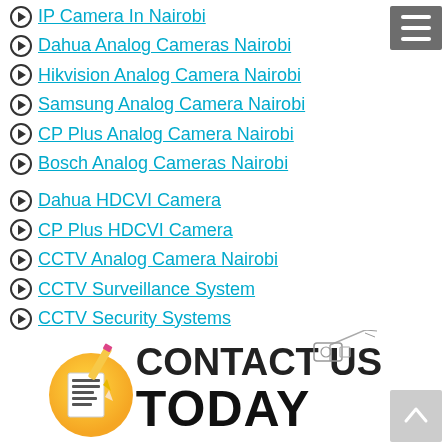IP Camera In Nairobi
Dahua Analog Cameras Nairobi
Hikvision Analog Camera Nairobi
Samsung Analog Camera Nairobi
CP Plus Analog Camera Nairobi
Bosch Analog Cameras Nairobi
Dahua HDCVI Camera
CP Plus HDCVI Camera
CCTV Analog Camera Nairobi
CCTV Surveillance System
CCTV Security Systems
CCTV Camera Companies in Kenya
Wireless CCTV Camera
[Figure (infographic): Contact Us Today banner with pencil/notepad icon and CCTV camera sketch illustration]